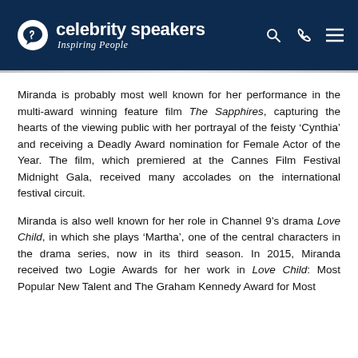celebrity speakers Inspiring People
Miranda is probably most well known for her performance in the multi-award winning feature film The Sapphires, capturing the hearts of the viewing public with her portrayal of the feisty ‘Cynthia’ and receiving a Deadly Award nomination for Female Actor of the Year. The film, which premiered at the Cannes Film Festival Midnight Gala, received many accolades on the international festival circuit.
Miranda is also well known for her role in Channel 9’s drama Love Child, in which she plays ‘Martha’, one of the central characters in the drama series, now in its third season. In 2015, Miranda received two Logie Awards for her work in Love Child: Most Popular New Talent and The Graham Kennedy Award for Most